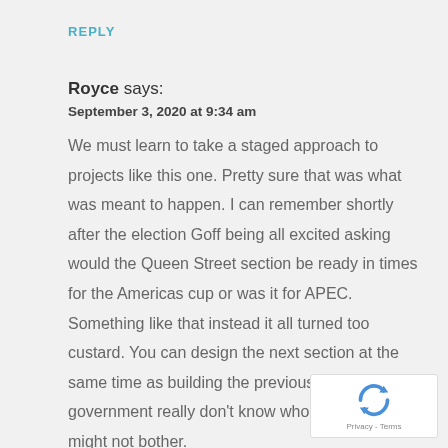REPLY
Royce says:
September 3, 2020 at 9:34 am
We must learn to take a staged approach to projects like this one. Pretty sure that was what was meant to happen. I can remember shortly after the election Goff being all excited asking would the Queen Street section be ready in times for the Americas cup or was it for APEC. Something like that instead it all turned too custard. You can design the next section at the same time as building the previous one. Failed government really don't know who to vote for might not bother.
[Figure (logo): reCAPTCHA badge with rotating arrows logo and Privacy - Terms text]